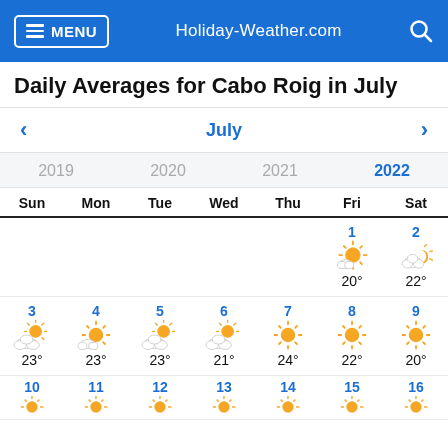MENU   Holiday-Weather.com   [search]
Daily Averages for Cabo Roig in July
< July >
2019   2020   2021   2022
| Sun | Mon | Tue | Wed | Thu | Fri | Sat |
| --- | --- | --- | --- | --- | --- | --- |
|  |  |  |  |  | 1 ☀ 20° | 2 ⛅ 22° |
| 3 ⛅ 23° | 4 ☀ 23° | 5 ⛅ 23° | 6 ⛅ 21° | 7 ☀ 24° | 8 ☀ 22° | 9 ☀ 20° |
| 10 | 11 | 12 | 13 | 14 | 15 | 16 |